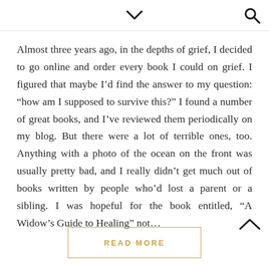navigation icons: chevron down, search
Almost three years ago, in the depths of grief, I decided to go online and order every book I could on grief. I figured that maybe I’d find the answer to my question: “how am I supposed to survive this?” I found a number of great books, and I’ve reviewed them periodically on my blog. But there were a lot of terrible ones, too. Anything with a photo of the ocean on the front was usually pretty bad, and I really didn’t get much out of books written by people who’d lost a parent or a sibling. I was hopeful for the book entitled, “A Widow’s Guide to Healing” not…
READ MORE